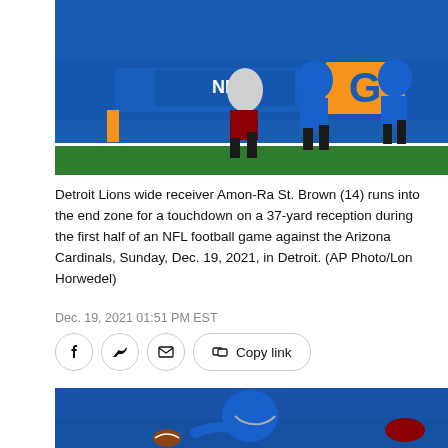[Figure (photo): Detroit Lions wide receiver Amon-Ra St. Brown running into the end zone for a touchdown, wearing blue uniform, with an orange pylon visible and blue background signage.]
Detroit Lions wide receiver Amon-Ra St. Brown (14) runs into the end zone for a touchdown on a 37-yard reception during the first half of an NFL football game against the Arizona Cardinals, Sunday, Dec. 19, 2021, in Detroit. (AP Photo/Lon Horwedel)
Dec. 19, 2021 01:51 PM EST
[Figure (photo): Detroit Lions player in blue uniform reaching for a football during an NFL game against the Arizona Cardinals.]